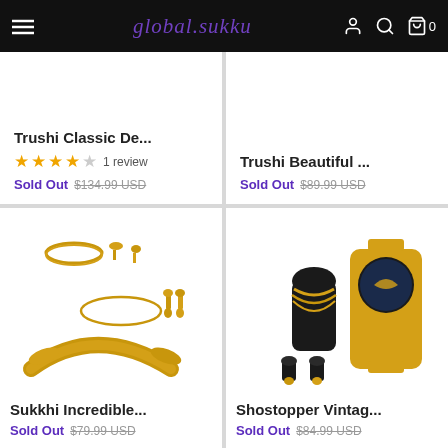global sukku — navigation header with hamburger menu, logo, user icon, search icon, cart icon (0)
Trushi Classic De...
★★★★☆ 1 review
Sold Out $134.99 USD
Trushi Beautiful ...
Sold Out $89.99 USD
[Figure (photo): Gold Indian jewelry set with multiple necklaces and earrings displayed on white background]
Sukkhi Incredible...
Sold Out $79.99 USD
[Figure (photo): Gold jewelry set with necklace on black mannequin bust alongside a gold watch, with small earrings displayed]
Shostopper Vintag...
Sold Out $84.99 USD